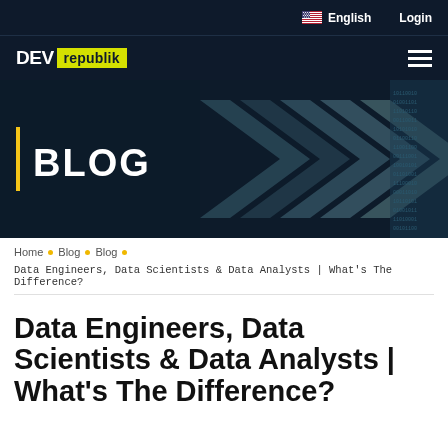English   Login
[Figure (logo): DEV republik logo with yellow background on 'republik' text, displayed in dark navy header bar with hamburger menu icon]
[Figure (infographic): Hero banner with dark navy background, chevron arrow shapes in teal/blue tones on right side, binary code texture on far right, yellow vertical accent bar on left, bold white BLOG text]
Home • Blog • Blog
Data Engineers, Data Scientists & Data Analysts | What's The Difference?
Data Engineers, Data Scientists & Data Analysts | What's The Difference?